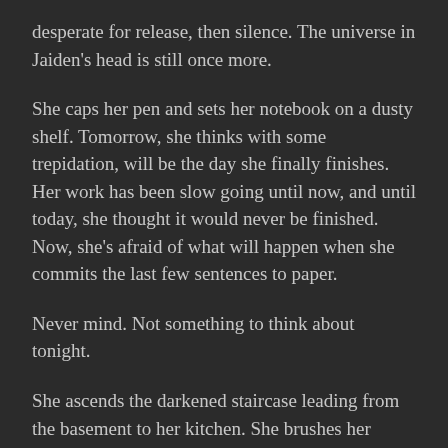desperate for release, then silence. The universe in Jaiden's head is still once more.
She caps her pen and sets her notebook on a dusty shelf. Tomorrow, she thinks with some trepidation, will be the day she finally finishes. Her work has been slow going until now, and until today, she thought it would never be finished. Now, she's afraid of what will happen when she commits the last few sentences to paper.
Never mind. Not something to think about tonight.
She ascends the darkened staircase leading from the basement to her kitchen. She brushes her teeth, turns out the light, and slips into bed.
Tomorrow, she thinks as she drifts into the cold, black